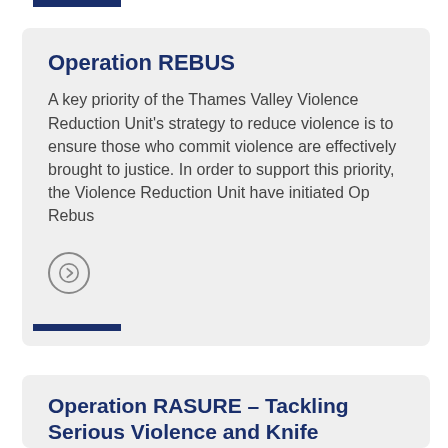Operation REBUS
A key priority of the Thames Valley Violence Reduction Unit's strategy to reduce violence is to ensure those who commit violence are effectively brought to justice. In order to support this priority, the Violence Reduction Unit have initiated Op Rebus
[Figure (other): Arrow icon in a circle, acting as a link/navigation button]
Operation RASURE – Tackling Serious Violence and Knife Enabled Crime